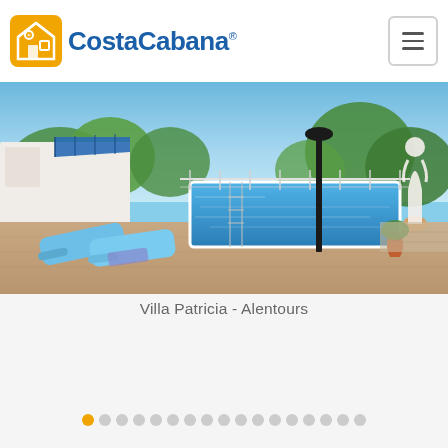[Figure (logo): CostaCabana logo with orange house icon and blue text]
[Figure (photo): Villa Patricia outdoor pool area with blue lounge chairs, terracotta paving, a black lamp post, lush greenery in background, white statue on right]
Villa Patricia - Alentours
[Figure (infographic): Slideshow navigation dots: one orange active dot followed by sixteen grey dots]